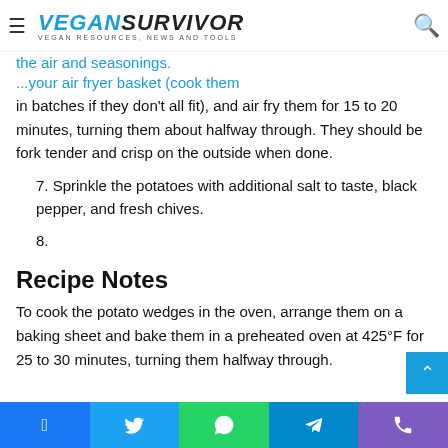VeganSurvivor — Vegan Resources, News and Tools
the air and seasonings. ...your air fryer basket (cook them in batches if they don't all fit), and air fry them for 15 to 20 minutes, turning them about halfway through. They should be fork tender and crisp on the outside when done.
7. Sprinkle the potatoes with additional salt to taste, black pepper, and fresh chives.
8.
Recipe Notes
To cook the potato wedges in the oven, arrange them on a baking sheet and bake them in a preheated oven at 425°F for 25 to 30 minutes, turning them halfway through.
Facebook Twitter WhatsApp Telegram Phone